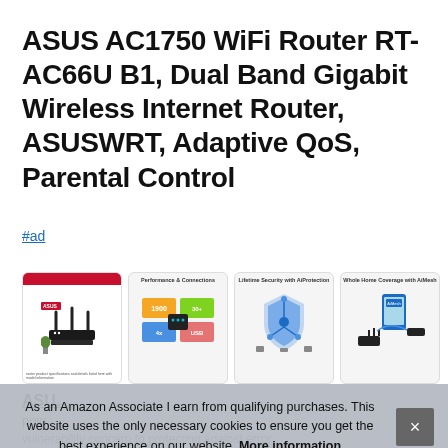ASUS AC1750 WiFi Router RT-AC66U B1, Dual Band Gigabit Wireless Internet Router, ASUSWRT, Adaptive QoS, Parental Control
#ad
[Figure (screenshot): Four product thumbnail images showing the ASUS router from different angles and feature infographics: product photo, Performance & Connections infographic, Lifetime Security with AiProtection infographic, Whole Home Coverage with AiMesh infographic]
ASU
pow
vulnerability concern to protection against error
As an Amazon Associate I earn from qualifying purchases. This website uses the only necessary cookies to ensure you get the best experience on our website. More information